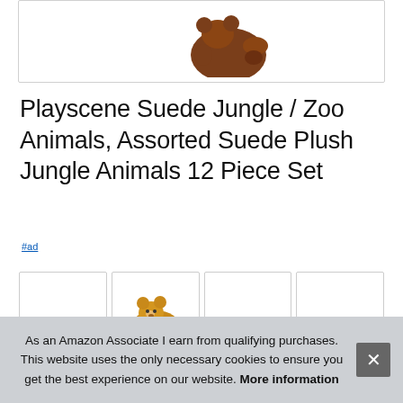[Figure (photo): Partial view of brown plush stuffed animal toy at top of page]
Playscene Suede Jungle / Zoo Animals, Assorted Suede Plush Jungle Animals 12 Piece Set
#ad
[Figure (photo): Four thumbnail images of plush jungle/zoo animal toys in a row, second thumbnail shows a brown bear plush toy]
As an Amazon Associate I earn from qualifying purchases. This website uses the only necessary cookies to ensure you get the best experience on our website. More information